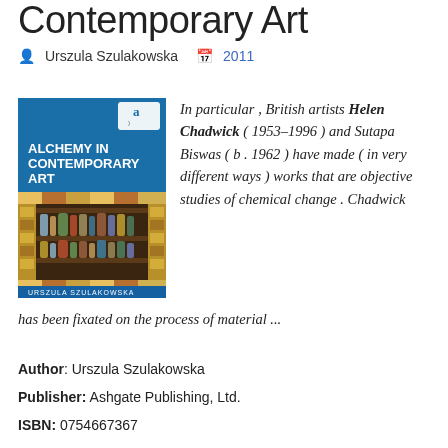Contemporary Art
Urszula Szulakowska  2011
[Figure (photo): Book cover of 'Alchemy in Contemporary Art' by Urszula Szulakowska, published by Ashgate. Blue cover with image of shelves of glass bottles and decorative mosaic patterns.]
In particular , British artists Helen Chadwick ( 1953–1996 ) and Sutapa Biswas ( b . 1962 ) have made ( in very different ways ) works that are objective studies of chemical change . Chadwick has been fixated on the process of material ...
Author: Urszula Szulakowska
Publisher: Ashgate Publishing, Ltd.
ISBN: 0754667367
Category: Art